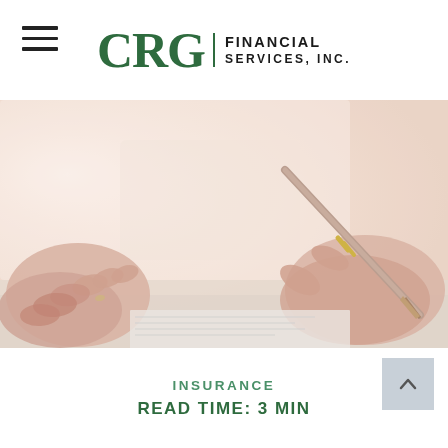CRG Financial Services, Inc.
[Figure (photo): Two people at a desk; one with clasped hands on the left, the other holding a pen writing on a document on the right. Soft warm lighting with blurred background.]
INSURANCE
READ TIME: 3 MIN